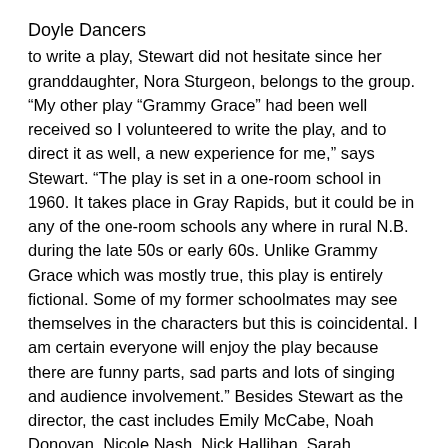Doyle Dancers
to write a play, Stewart did not hesitate since her granddaughter, Nora Sturgeon, belongs to the group. “My other play “Grammy Grace” had been well received so I volunteered to write the play, and to direct it as well, a new experience for me,” says Stewart. “The play is set in a one-room school in 1960. It takes place in Gray Rapids, but it could be in any of the one-room schools any where in rural N.B. during the late 50s or early 60s. Unlike Grammy Grace which was mostly true, this play is entirely fictional. Some of my former schoolmates may see themselves in the characters but this is coincidental. I am certain everyone will enjoy the play because there are funny parts, sad parts and lots of singing and audience involvement.” Besides Stewart as the director, the cast includes Emily McCabe, Noah Donovan, Nicole Nash, Nick Hallihan, Sarah Manderville, Laura Sturgeon, Christina Donovan, Dorinda Glover, Jeff Wilson, Bernie